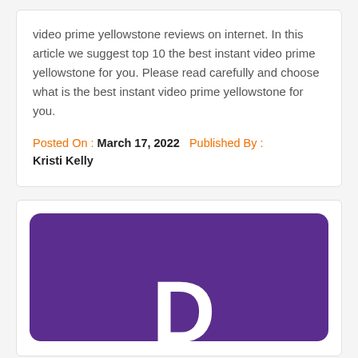video prime yellowstone reviews on internet. In this article we suggest top 10 the best instant video prime yellowstone for you. Please read carefully and choose what is the best instant video prime yellowstone for you.
Posted On : March 17, 2022   Published By : Kristi Kelly
[Figure (illustration): Purple rounded rectangle with a large white letter R visible at the bottom center, resembling a product or app logo card.]